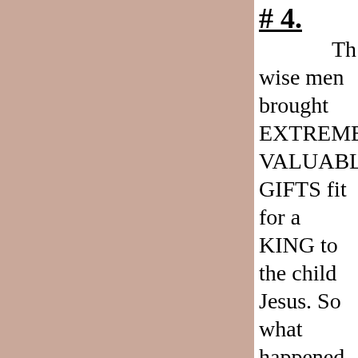[Figure (other): Left two-thirds of the page is a solid dusty rose/mauve colored panel]
# 4.
The wise men brought EXTREMELY VALUABLE GIFTS fit for a KING to the child Jesus. So what happened to all this extreme WEALTH?